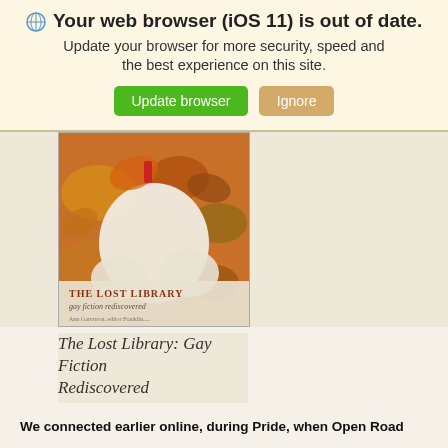🌐 Your web browser (iOS 11) is out of date. Update your browser for more security, speed and the best experience on this site.
Update browser | Ignore
[Figure (illustration): Book cover of 'The Lost Library: Gay Fiction Rediscovered' showing an illustrated figure surrounded by autumn leaves]
The Lost Library: Gay Fiction Rediscovered
We connected earlier online, during Pride, when Open Road was the guest editor of The Lost Library: Gay Fiction Rediscovered Facebook fan page. I understand that the essay